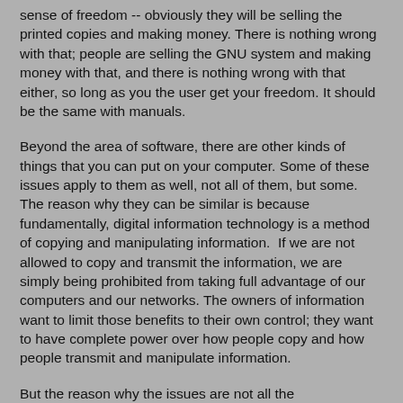sense of freedom -- obviously they will be selling the printed copies and making money. There is nothing wrong with that; people are selling the GNU system and making money with that, and there is nothing wrong with that either, so long as you the user get your freedom. It should be the same with manuals.
Beyond the area of software, there are other kinds of things that you can put on your computer. Some of these issues apply to them as well, not all of them, but some. The reason why they can be similar is because fundamentally, digital information technology is a method of copying and manipulating information.  If we are not allowed to copy and transmit the information, we are simply being prohibited from taking full advantage of our computers and our networks. The owners of information want to limit those benefits to their own control; they want to have complete power over how people copy and how people transmit and manipulate information.
But the reason why the issues are not all the same is also different kinds of information...